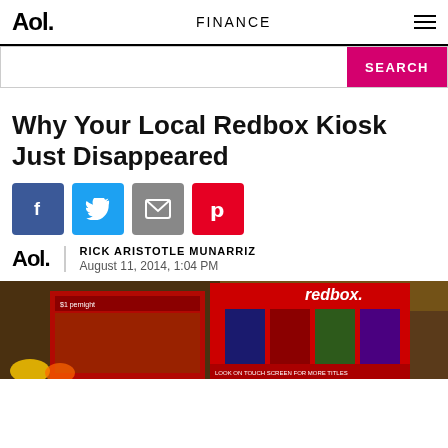Aol. | FINANCE
[Figure (screenshot): Search bar with pink SEARCH button]
Why Your Local Redbox Kiosk Just Disappeared
[Figure (infographic): Social sharing buttons: Facebook (blue), Twitter (light blue), Email (gray), Pinterest (red)]
RICK ARISTOTLE MUNARRIZ
August 11, 2014, 1:04 PM
[Figure (photo): Photo of a red Redbox kiosk with movie titles displayed, inside a retail store]